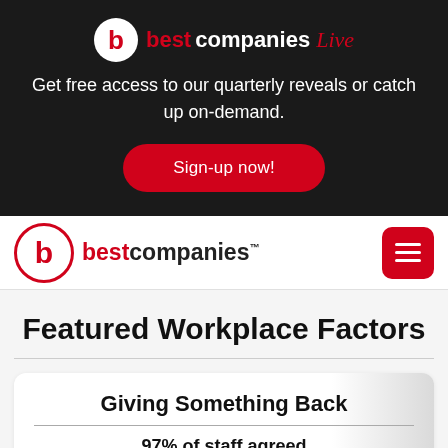[Figure (logo): Best Companies Live logo with red circle b icon and red/white wordmark with italic 'Live' in script]
Get free access to our quarterly reveals or catch up on-demand.
Sign-up now!
[Figure (logo): Best Companies navigation logo with red circle b icon and best companies wordmark with TM mark, plus red hamburger menu button]
Featured Workplace Factors
Giving Something Back
97% of staff agreed
My organisation makes a positive difference